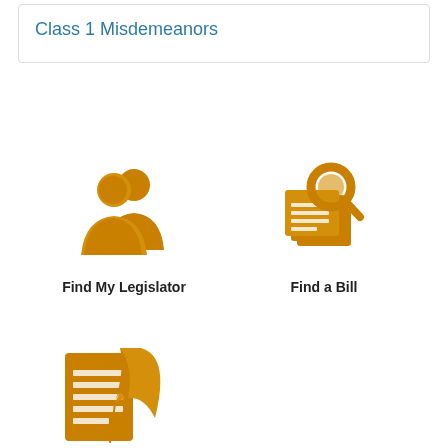Class 1 Misdemeanors
[Figure (illustration): Golden/amber icon of two person silhouettes (legislators) side by side]
Find My Legislator
[Figure (illustration): Golden/amber icon of a magnifying glass over stacked documents/papers (find a bill)]
Find a Bill
[Figure (illustration): Golden/amber icon of a document with lines and a quill feather pen]